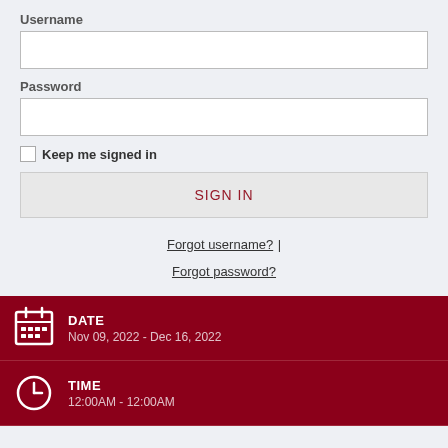Username
Password
Keep me signed in
SIGN IN
Forgot username? | Forgot password?
DATE
Nov 09, 2022 - Dec 16, 2022
TIME
12:00AM - 12:00AM